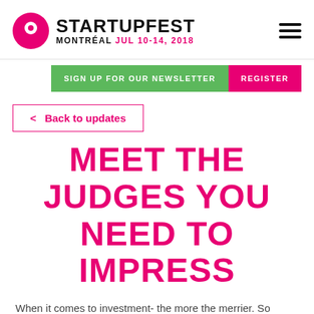STARTUPFEST MONTRÉAL JUL 10-14, 2018
SIGN UP FOR OUR NEWSLETTER
REGISTER
< Back to updates
MEET THE JUDGES YOU NEED TO IMPRESS
When it comes to investment- the more the merrier. So we've taken the $100k prize, and doubled it.